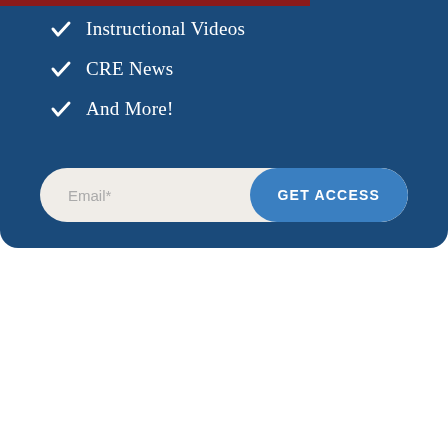Instructional Videos
CRE News
And More!
Email*
GET ACCESS
FREE RESOURCE
Cashflow Calculator
DOWNLOAD NOW
[Figure (photo): Person using tablet/calculator with cash flow calculator card]
CASH FLOW CALCULATOR